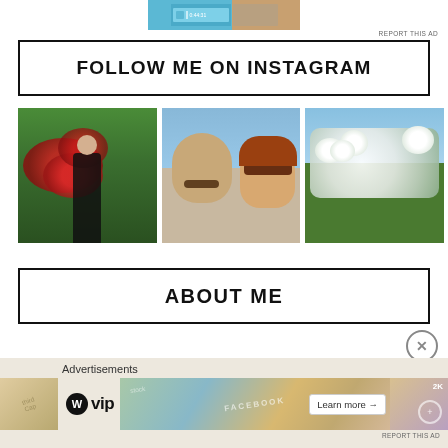[Figure (screenshot): Top advertisement banner with blue and wood-tone background, video player UI elements, timestamped content. 'REPORT THIS AD' text visible.]
FOLLOW ME ON INSTAGRAM
[Figure (photo): Three Instagram photos in a row: (1) Person in black dress standing in front of red flowering bushes and green foliage; (2) Couple selfie at beach, man with mustache, woman with auburn hair and sunglasses kissing his cheek; (3) Close-up of white flowering shrub against blue sky.]
ABOUT ME
[Figure (screenshot): Bottom advertisement bar with WordPress VIP logo, decorative map/pattern background with FACEBOOK text, 'Learn more →' button. 'Advertisements' label above.]